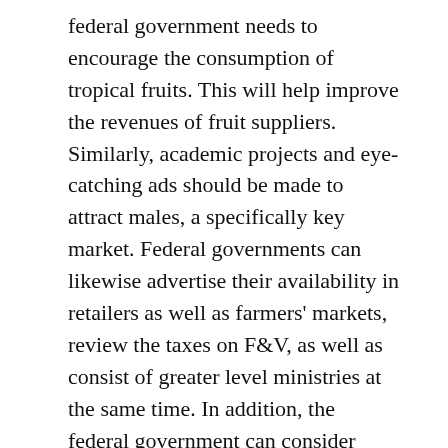federal government needs to encourage the consumption of tropical fruits. This will help improve the revenues of fruit suppliers. Similarly, academic projects and eye-catching ads should be made to attract males, a specifically key market. Federal governments can likewise advertise their availability in retailers as well as farmers' markets, review the taxes on F&V, as well as consist of greater level ministries at the same time. In addition, the federal government can consider food labeling to enhance the public's understanding concerning the wellness benefits of fruits.
Part sizes
Portionskontrolle is the art of regulating your